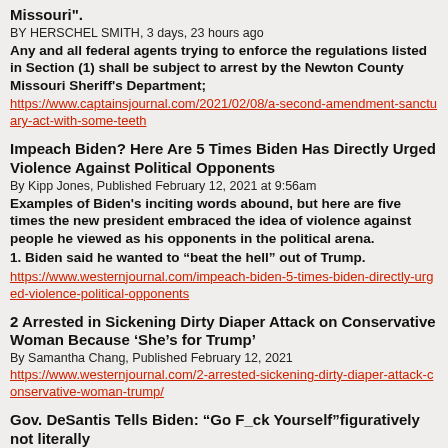Missouri".
BY HERSCHEL SMITH, 3 days, 23 hours ago
Any and all federal agents trying to enforce the regulations listed in Section (1) shall be subject to arrest by the Newton County Missouri Sheriff's Department;
https://www.captainsjournal.com/2021/02/08/a-second-amendment-sanctuary-act-with-some-teeth
Impeach Biden? Here Are 5 Times Biden Has Directly Urged Violence Against Political Opponents
By Kipp Jones, Published February 12, 2021 at 9:56am
Examples of Biden's inciting words abound, but here are five times the new president embraced the idea of violence against people he viewed as his opponents in the political arena.
1. Biden said he wanted to "beat the hell" out of Trump.
https://www.westernjournal.com/impeach-biden-5-times-biden-directly-urged-violence-political-opponents
2 Arrested in Sickening Dirty Diaper Attack on Conservative Woman Because ‘She’s for Trump’
By Samantha Chang, Published February 12, 2021
https://www.westernjournal.com/2-arrested-sickening-dirty-diaper-attack-conservative-woman-trump/
Gov. DeSantis Tells Biden: “Go F_ck Yourself”figuratively not literally
By Michael Baxter -February 11, 2021
Florida Governor Ron DeSantis on Wednesday did not mince words on a congested conference call with Biden and federal health authorities who are seeking to prohibit domestic travel to